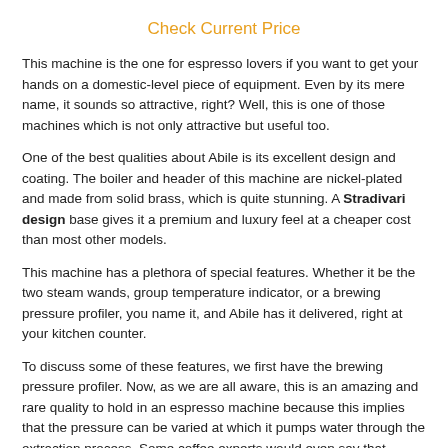Check Current Price
This machine is the one for espresso lovers if you want to get your hands on a domestic-level piece of equipment. Even by its mere name, it sounds so attractive, right? Well, this is one of those machines which is not only attractive but useful too.
One of the best qualities about Abile is its excellent design and coating. The boiler and header of this machine are nickel-plated and made from solid brass, which is quite stunning. A Stradivari design base gives it a premium and luxury feel at a cheaper cost than most other models.
This machine has a plethora of special features. Whether it be the two steam wands, group temperature indicator, or a brewing pressure profiler, you name it, and Abile has it delivered, right at your kitchen counter.
To discuss some of these features, we first have the brewing pressure profiler. Now, as we are all aware, this is an amazing and rare quality to hold in an espresso machine because this implies that the pressure can be varied at which it pumps water through the extraction process. Some coffee experts would even say that pressure profiling is a feature that makes any coffee shot a bit.